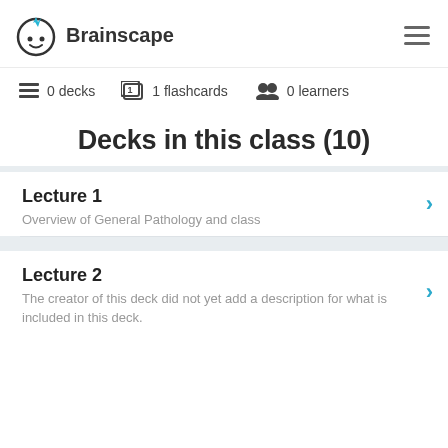Brainscape
0 decks  1 flashcards  0 learners
Decks in this class (10)
Lecture 1
Overview of General Pathology and class
Lecture 2
The creator of this deck did not yet add a description for what is included in this deck.